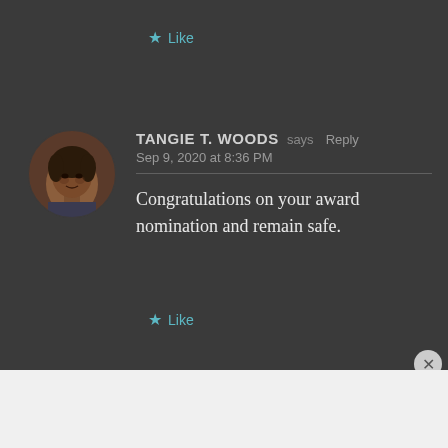★ Like
[Figure (photo): Circular avatar photo of Tangie T. Woods, a woman with braided hair]
TANGIE T. WOODS says Reply
Sep 9, 2020 at 8:36 PM
Congratulations on your award nomination and remain safe.
★ Like
Advertisements
[Figure (screenshot): WooCommerce advertisement banner: WOO COMMERCE logo on purple background with text 'The most customizable eCommerce platform']